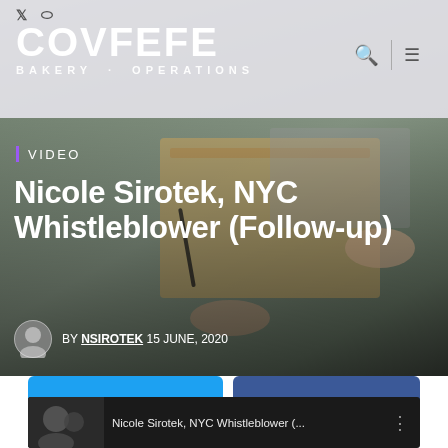COVFEFE BAKERY · OPERATIONS
VIDEO
Nicole Sirotek, NYC Whistleblower (Follow-up)
BY NSIROTEK 15 JUNE, 2020
[Figure (screenshot): Embedded video thumbnail showing Nicole Sirotek, NYC Whistleblower video preview with title bar]